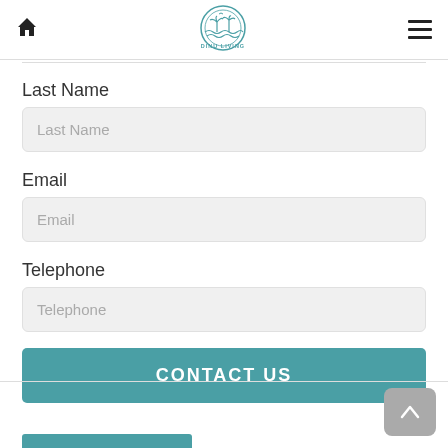Dinu Living — navigation header with home icon and hamburger menu
Last Name
Last Name (input field placeholder)
Email
Email (input field placeholder)
Telephone
Telephone (input field placeholder)
CONTACT US
Back to top button